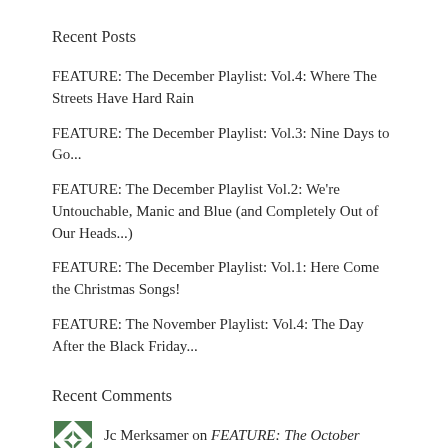Recent Posts
FEATURE: The December Playlist: Vol.4: Where The Streets Have Hard Rain
FEATURE: The December Playlist: Vol.3: Nine Days to Go...
FEATURE: The December Playlist Vol.2: We're Untouchable, Manic and Blue (and Completely Out of Our Heads...)
FEATURE: The December Playlist: Vol.1: Here Come the Christmas Songs!
FEATURE: The November Playlist: Vol.4: The Day After the Black Friday...
Recent Comments
Jc Merksamer on FEATURE: The October